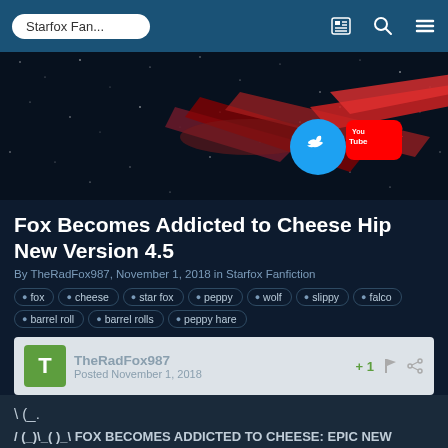Starfox Fan...
[Figure (screenshot): Starfox Fanfiction website banner with logo, Twitter and YouTube social icons on a dark starfield background]
Fox Becomes Addicted to Cheese Hip New Version 4.5
By TheRadFox987, November 1, 2018 in Starfox Fanfiction
fox
cheese
star fox
peppy
wolf
slippy
falco
barrel roll
barrel rolls
peppy hare
TheRadFox987 +1 Posted November 1, 2018
\ (_.
/ (_)\_(  )_\ FOX BECOMES ADDICTED TO CHEESE: EPIC NEW VERSION EDITION